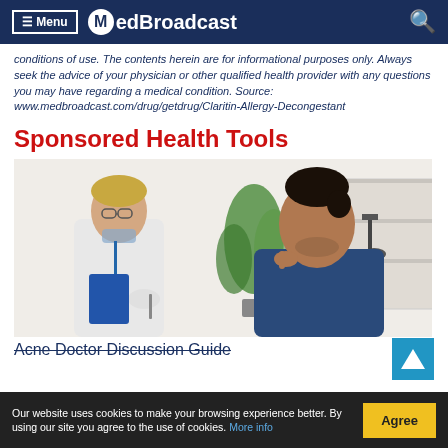≡ Menu  MedBroadcast
conditions of use. The contents herein are for informational purposes only. Always seek the advice of your physician or other qualified health provider with any questions you may have regarding a medical condition. Source: www.medbroadcast.com/drug/getdrug/Claritin-Allergy-Decongestant
Sponsored Health Tools
[Figure (photo): A female doctor in a white coat and face mask pulled down, wearing gloves, examining or treating a male patient who is pointing to his face. They are in a bright medical office with shelves and a plant in the background.]
Acne Doctor Discussion Guide
Our website uses cookies to make your browsing experience better. By using our site you agree to the use of cookies. More info